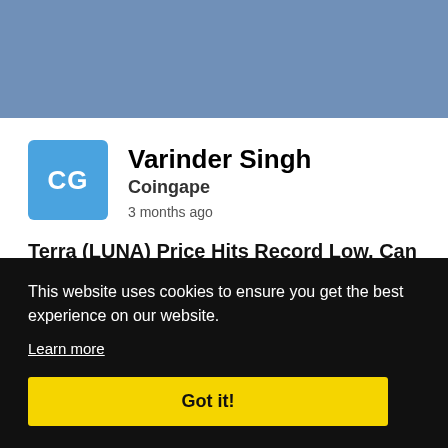[Figure (other): Blue-grey header banner background]
[Figure (other): Avatar with initials CG on blue background]
Varinder Singh
Coingape
3 months ago
Terra (LUNA) Price Hits Record Low, Can Do Kwon Fix This?
The Terra (LUNA) price has fallen to an all-time low of $2.70, despite founder Do Kwon's proposal to fix the 24...
hance's
This website uses cookies to ensure you get the best experience on our website.
Learn more
Got it!